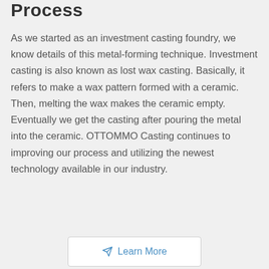Process
As we started as an investment casting foundry, we know details of this metal-forming technique. Investment casting is also known as lost wax casting. Basically, it refers to make a wax pattern formed with a ceramic. Then, melting the wax makes the ceramic empty. Eventually we get the casting after pouring the metal into the ceramic. OTTOMMO Casting continues to improving our process and utilizing the newest technology available in our industry.
Learn More